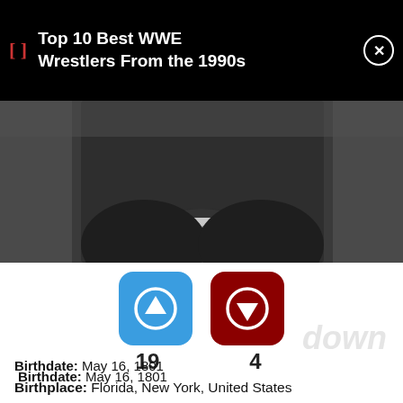Top 10 Best WWE Wrestlers From the 1990s
[Figure (photo): Black and white historical portrait photo, cropped to show neck/collar area of a person in formal attire]
19  4
Birthdate: May 16, 1801
Birthplace: Florida, New York, United States
Died: October 10, 1872
Celebrities Born On My Birthday?  Enter Your DOB  GO